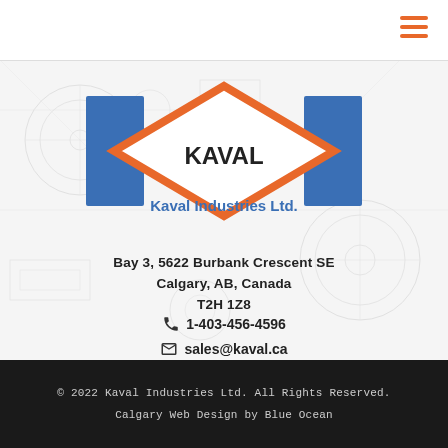[Figure (logo): Kaval Industries Ltd. logo: two blue vertical rectangles flanking an orange diamond shape with 'KAVAL' text inside, and 'Kaval Industries Ltd.' below]
Bay 3, 5622 Burbank Crescent SE
Calgary, AB, Canada
T2H 1Z8
1-403-456-4596
sales@kaval.ca
© 2022 Kaval Industries Ltd. All Rights Reserved.
Calgary Web Design by Blue Ocean